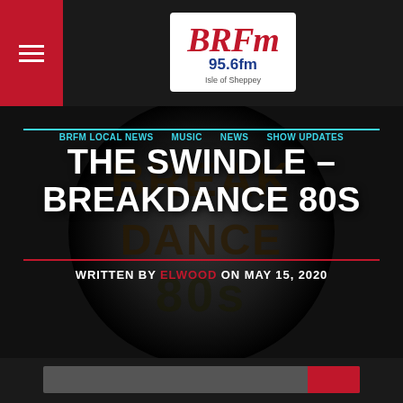[Figure (logo): BRFM 95.6fm Isle of Sheppey radio station logo in red and blue graffiti style lettering]
BRFM LOCAL NEWS  MUSIC  NEWS  SHOW UPDATES
THE SWINDLE – BREAKDANCE 80S
WRITTEN BY ELWOOD ON MAY 15, 2020
[Figure (screenshot): Audio player bar with dark grey background and red accent on right side, with copy and play icons in bottom toolbar on dark background]